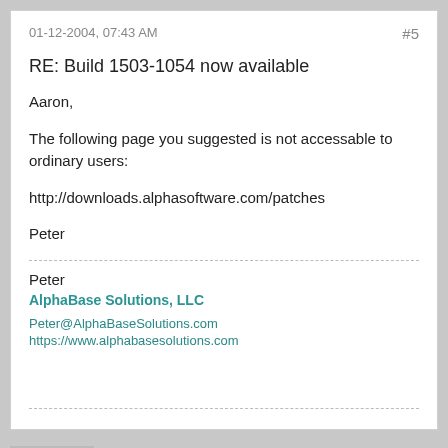01-12-2004, 07:43 AM
#5
RE: Build 1503-1054 now available
Aaron,

The following page you suggested is not accessable to ordinary users:

http://downloads.alphasoftware.com/patches

Peter
Peter
AlphaBase Solutions, LLC
Peter@AlphaBaseSolutions.com
https://www.alphabasesolutions.com
AaronBBrown
Alpha Software Employee
Join Date: Feb 2001   Posts: 2836